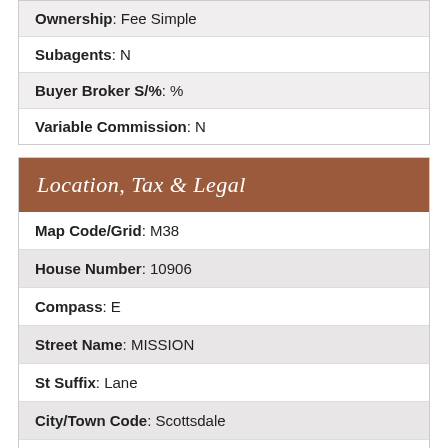| Ownership: Fee Simple |
| Subagents: N |
| Buyer Broker S/%: % |
| Variable Commission: N |
Location, Tax & Legal
| Map Code/Grid: M38 |
| House Number: 10906 |
| Compass: E |
| Street Name: MISSION |
| St Suffix: Lane |
| City/Town Code: Scottsdale |
| State/Province: AZ |
| Zip Code: 85259 |